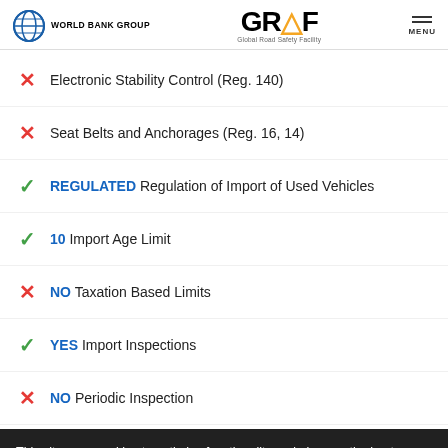WORLD BANK GROUP | GRSF Global Road Safety Facility | MENU
✗ Electronic Stability Control (Reg. 140)
✗ Seat Belts and Anchorages (Reg. 16, 14)
✓ REGULATED Regulation of Import of Used Vehicles
✓ 10 Import Age Limit
✗ NO Taxation Based Limits
✓ YES Import Inspections
✗ NO Periodic Inspection
This site uses cookies to optimize functionality and give you the best possible experience. If you continue to navigate this website beyond this page, cookies will be placed on your browser. To learn more about cookies, click here.
National Spotlight: Driving improvements in road...